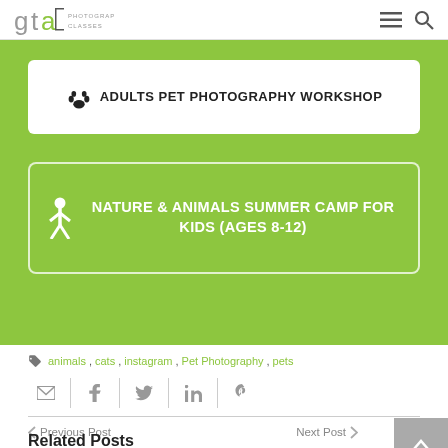gta PHOTOGRAPHY CLASSES
[Figure (screenshot): Green banner with two course cards: 1) White card with paw icon and text 'ADULTS PET PHOTOGRAPHY WORKSHOP', 2) Green card with person icon and text 'NATURE & ANIMALS SUMMER CAMP FOR KIDS (AGES 8-12)']
animals, cats, instagram, Pet Photography, pets
[Figure (infographic): Social sharing buttons: email, facebook, twitter, linkedin, pinterest]
Previous Post   Next Post
Related Posts